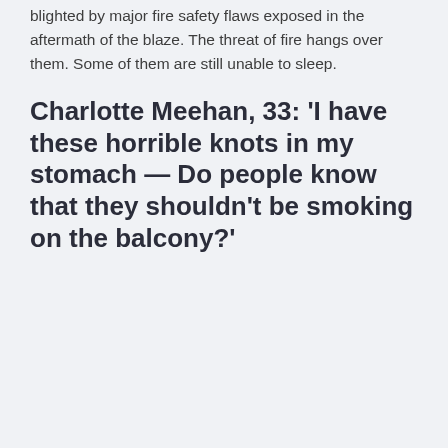blighted by major fire safety flaws exposed in the aftermath of the blaze. The threat of fire hangs over them. Some of them are still unable to sleep.
Charlotte Meehan, 33: 'I have these horrible knots in my stomach — Do people know that they shouldn't be smoking on the balcony?'